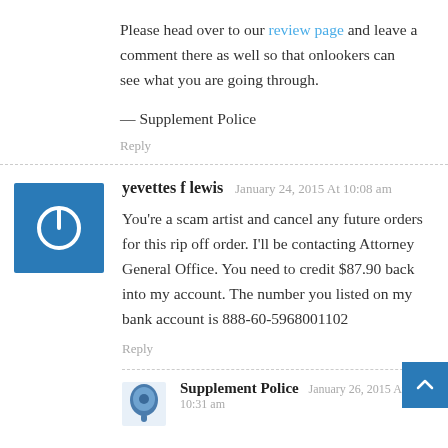Please head over to our review page and leave a comment there as well so that onlookers can see what you are going through.
— Supplement Police
Reply
yevettes f lewis January 24, 2015 At 10:08 am
You're a scam artist and cancel any future orders for this rip off order. I'll be contacting Attorney General Office. You need to credit $87.90 back into my account. The number you listed on my bank account is 888-60-5968001102
Reply
Supplement Police January 26, 2015 At 10:31 am